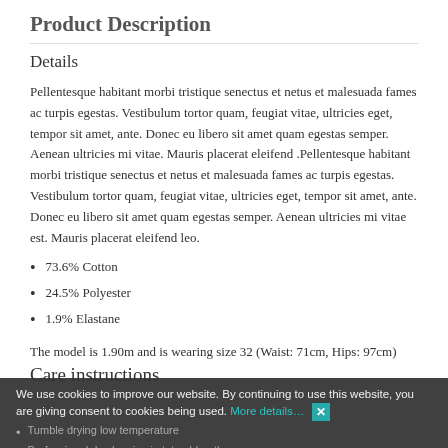Product Description
Details
Pellentesque habitant morbi tristique senectus et netus et malesuada fames ac turpis egestas. Vestibulum tortor quam, feugiat vitae, ultricies eget, tempor sit amet, ante. Donec eu libero sit amet quam egestas semper. Aenean ultricies mi vitae. Mauris placerat eleifend .Pellentesque habitant morbi tristique senectus et netus et malesuada fames ac turpis egestas. Vestibulum tortor quam, feugiat vitae, ultricies eget, tempor sit amet, ante. Donec eu libero sit amet quam egestas semper. Aenean ultricies mi vitae est. Mauris placerat eleifend leo.
73.6% Cotton
24.5% Polyester
1.9% Elastane
The model is 1.90m and is wearing size 32 (Waist: 71cm, Hips: 97cm)
Care instructions
Tumble drying low temperature
Professional drycleaning in tetrachlorethene
We use cookies to improve our website. By continuing to use this website, you are giving consent to cookies being used. More details…